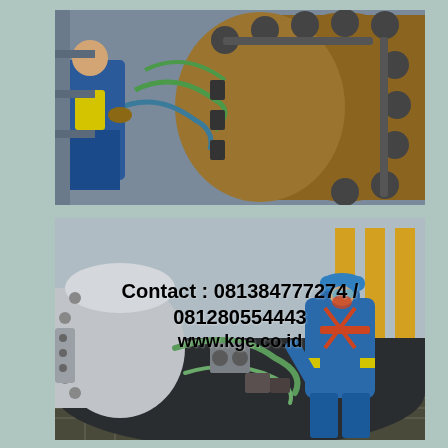[Figure (photo): Industrial workers in blue coveralls operating pipe cutting or clamping machinery on a large diameter pipe at an industrial facility. Green hoses and yellow equipment visible.]
[Figure (photo): Industrial worker in blue coveralls and safety gear (hard hat, goggles, harness) working on large valve/pipe assembly at an industrial plant. Large ball valve and pipe flanges visible with green hoses connected.]
Contact : 081384777274 / 081280554443
www.kge.co.id